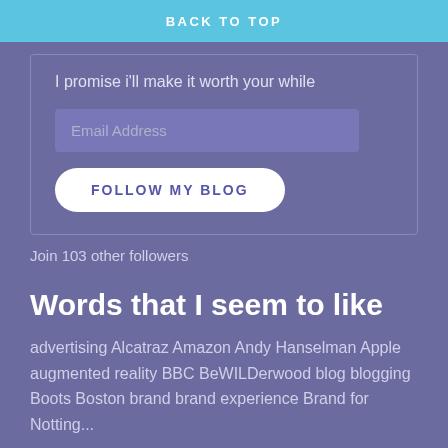BACK TO TOP
I promise i'll make it worth your while
Email Address
FOLLOW MY BLOG
Join 103 other followers
Words that I seem to like
advertising Alcatraz Amazon Andy Hanselman Apple augmented reality BBC BeWILDerwood blog blogging Boots Boston brand brand experience Brand for Notting...